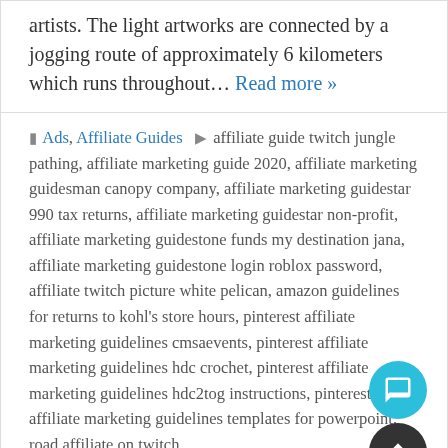artists. The light artworks are connected by a jogging route of approximately 6 kilometers which runs throughout... Read more »
Ads, Affiliate Guides  affiliate guide twitch jungle pathing, affiliate marketing guide 2020, affiliate marketing guidesman canopy company, affiliate marketing guidestar 990 tax returns, affiliate marketing guidestar non-profit, affiliate marketing guidestone funds my destination jana, affiliate marketing guidestone login roblox password, affiliate twitch picture white pelican, amazon guidelines for returns to kohl's store hours, pinterest affiliate marketing guidelines cmsaevents, pinterest affiliate marketing guidelines hdc crochet, pinterest affiliate marketing guidelines hdc2tog instructions, pinterest affiliate marketing guidelines templates for powerpoint, road affiliate on twitch